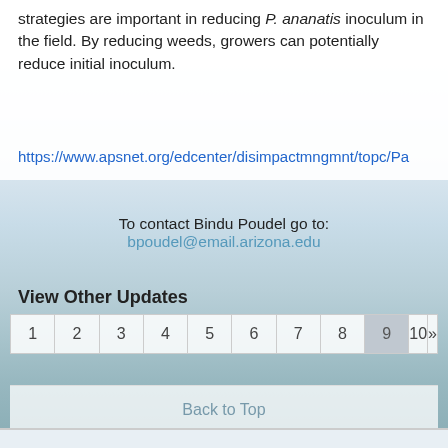The implementation of successful weed management strategies are important in reducing P. ananatis inoculum in the field. By reducing weeds, growers can potentially reduce initial inoculum.
https://www.apsnet.org/edcenter/disimpactmngmnt/topc/Pa...
To contact Bindu Poudel go to: bpoudel@email.arizona.edu
View Other Updates
| 1 | 2 | 3 | 4 | 5 | 6 | 7 | 8 | 9 | 10 | » |
| --- | --- | --- | --- | --- | --- | --- | --- | --- | --- | --- |
Back to Top